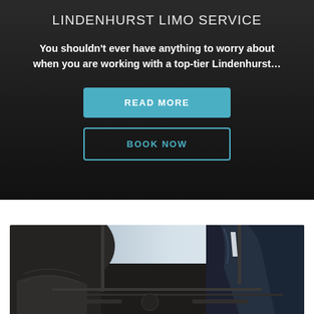LINDENHURST LIMO SERVICE
You shouldn't ever have anything to worry about when you are working with a top-tier Lindenhurst...
[Figure (screenshot): Blue 'READ MORE' button with rounded corners on dark background]
[Figure (screenshot): Outlined 'BOOK NOW' button with teal border on dark background]
[Figure (photo): Photo of a person in a dark suit sitting in a luxury car interior with leather seats and dashboard visible]